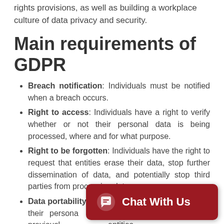rights provisions, as well as building a workplace culture of data privacy and security.
Main requirements of GDPR
Breach notification: Individuals must be notified when a breach occurs.
Right to access: Individuals have a right to verify whether or not their personal data is being processed, where and for what purpose.
Right to be forgotten: Individuals have the right to request that entities erase their data, stop further dissemination of data, and potentially stop third parties from processing data.
Data portability: Individuals have a right to receive their personal data concerning them that was previously provided to entities.
[Figure (other): Red chat widget button with speech bubble icon and text 'Chat With Us']